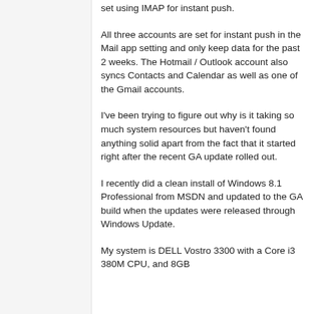set using IMAP for instant push.
All three accounts are set for instant push in the Mail app setting and only keep data for the past 2 weeks. The Hotmail / Outlook account also syncs Contacts and Calendar as well as one of the Gmail accounts.
I've been trying to figure out why is it taking so much system resources but haven't found anything solid apart from the fact that it started right after the recent GA update rolled out.
I recently did a clean install of Windows 8.1 Professional from MSDN and updated to the GA build when the updates were released through Windows Update.
My system is DELL Vostro 3300 with a Core i3 380M CPU, and 8GB